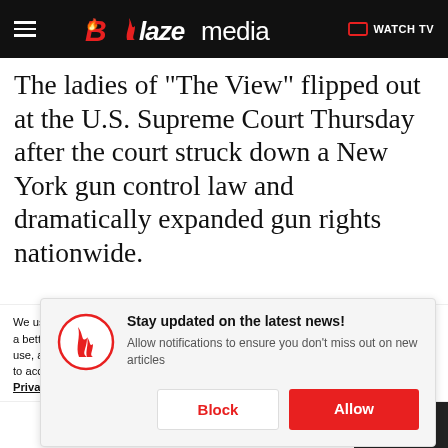Blaze media — WATCH TV
The ladies of "The View" flipped out at the U.S. Supreme Court Thursday after the court struck down a New York gun control law and dramatically expanded gun rights nationwide.
[Figure (screenshot): Browser push notification prompt: 'Stay updated on the latest news! Allow notifications to ensure you don't miss out on new articles' with Block and Allow buttons. Blaze Media logo icon shown.]
We use cookies to better understand website visitors, for advertising, and to offer you a better experience. For more information about our use of cookies, our collection, use, and disclosure of personal information generally, and any rights you may have to access, delete, or opt out of the sale of your personal information, please view our Privacy Policy.
Learn more    CLOSE